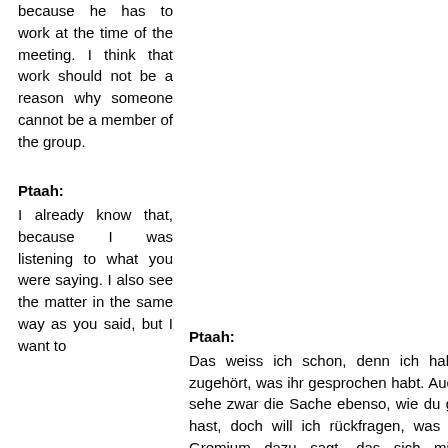because he has to work at the time of the meeting. I think that work should not be a reason why someone cannot be a member of the group.
Ptaah:
Ptaah:
I already know that, because I was listening to what you were saying. I also see the matter in the same way as you said, but I want to
Das weiss ich schon, denn ich hab zugehört, was ihr gesprochen habt. Auc sehe zwar die Sache ebenso, wie du g hast, doch will ich rückfragen, was r Gremium dazu sagt, das sich mit Problemen befasst, die sich mit den D von euch beschäftigen. Wenn du eine ...